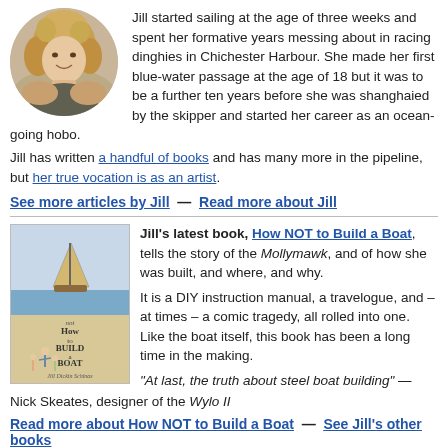[Figure (photo): Circular portrait photo of Jill, a woman with curly blonde hair, smiling, outdoors]
Jill started sailing at the age of three weeks and spent her formative years messing about in racing dinghies in Chichester Harbour. She made her first blue-water passage at the age of 18 but it was to be a further ten years before she was shanghaied by the skipper and started her career as an ocean-going hobo.
Jill has written a handful of books and has many more in the pipeline, but her true vocation is as an artist.
See more articles by Jill  —  Read more about Jill
[Figure (illustration): Book cover of 'How NOT to Build a Boat' by Jill Dickin Schinas, showing a sailboat and illustrated figures of a family]
Jill's latest book, How NOT to Build a Boat, tells the story of the Mollymawk, and of how she was built, and where, and why.
It is a DIY instruction manual, a travelogue, and – at times – a comic tragedy, all rolled into one. Like the boat itself, this book has been a long time in the making.
"At last, the truth about steel boat building" — Nick Skeates, designer of the Wylo II
Read more about How NOT to Build a Boat  —  See Jill's other books